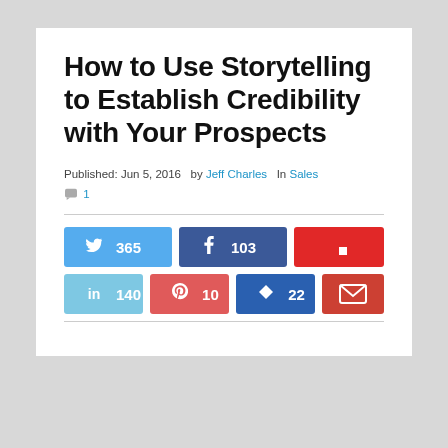How to Use Storytelling to Establish Credibility with Your Prospects
Published: Jun 5, 2016  by Jeff Charles  In Sales  1
[Figure (infographic): Social share buttons row 1: Twitter 365, Facebook 103, Flipboard (no count). Row 2: LinkedIn 140, Pinterest 10, Klout 22, Email (no count).]